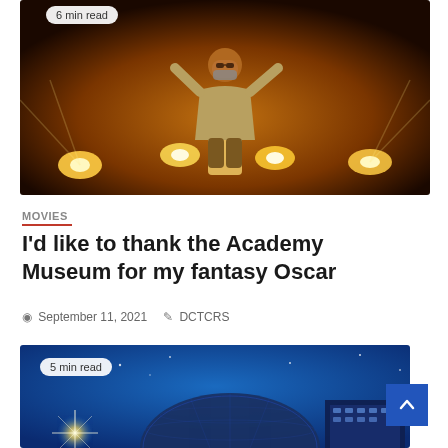[Figure (photo): Person in a blazer and mask standing on stage with dramatic orange/yellow stage lighting and lights in the background. Badge reads '6 min read'.]
MOVIES
I'd like to thank the Academy Museum for my fantasy Oscar
September 11, 2021   DCTCRS
[Figure (photo): Architecture at night — illuminated dome-shaped building (Academy Museum) against a deep blue sky with star-burst light flare. Badge reads '5 min read'.]